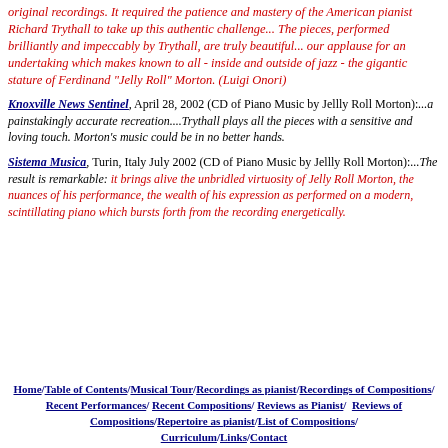original recordings. It required the patience and mastery of the American pianist Richard Trythall to take up this authentic challenge... The pieces, performed brilliantly and impeccably by Trythall, are truly beautiful... our applause for an undertaking which makes known to all - inside and outside of jazz - the gigantic stature of Ferdinand "Jelly Roll" Morton. (Luigi Onori)
Knoxville News Sentinel, April 28, 2002 (CD of Piano Music by Jellly Roll Morton):...a painstakingly accurate recreation....Trythall plays all the pieces with a sensitive and loving touch. Morton's music could be in no better hands.
Sistema Musica, Turin, Italy July 2002 (CD of Piano Music by Jellly Roll Morton):...The result is remarkable: it brings alive the unbridled virtuosity of Jelly Roll Morton, the nuances of his performance, the wealth of his expression as performed on a modern, scintillating piano which bursts forth from the recording energetically.
Home/ Table of Contents/ Musical Tour/ Recordings as pianist/ Recordings of Compositions/ Recent Performances/ Recent Compositions/ Reviews as Pianist/ Reviews of Compositions/ Repertoire as pianist/ List of Compositions/ Curriculum/ Links/ Contact